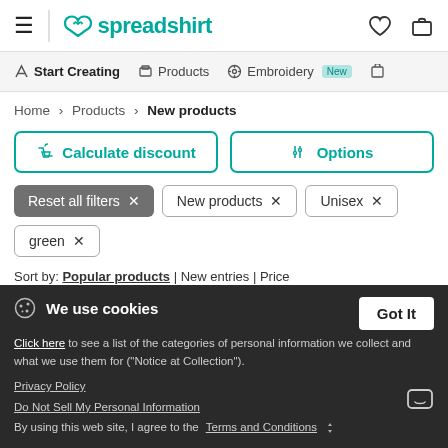spreadshirt - Start Creating | Products | Embroidery New | (gift icon)
Home > Products > New products
Calculate discount | Options
Reset all filters × | New products × | Unisex × | green ×
Sort by: Popular products | New entries | Price
Want your product ASAP? Calculate here shipping time
We use cookies
Click here to see a list of the categories of personal information we collect and what we use them for ("Notice at Collection").
Privacy Policy
Do Not Sell My Personal Information
By using this web site, I agree to the Terms and Conditions